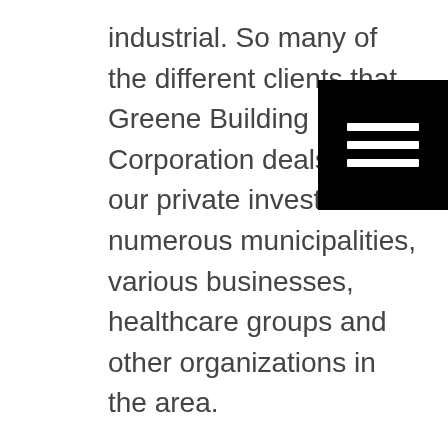industrial. So many of the different clients that Greene Building Corporation deals with our private investors for numerous municipalities, various businesses, healthcare groups and other organizations in the area.
[Figure (other): Hamburger menu icon — three horizontal white lines on a black square background]
Scott Greene as always had a immense passion for building and construction. The old saying is quite true, find something that you enjoy and you will never work again your life. Every morning Scott Greene wakes up excited to take on the day and ready for whatever